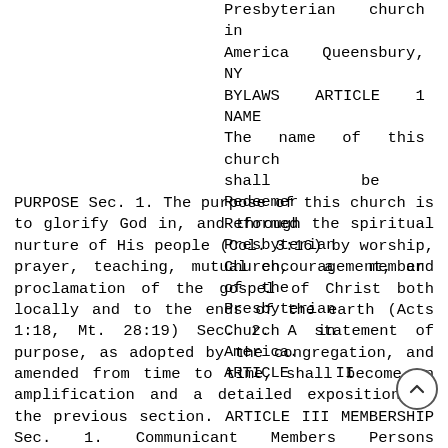Presbyterian Church in America Queensbury, NY BYLAWS ARTICLE 1 NAME The name of this church shall be Redeemer Reformed Presbyterian Church, a member of the Presbyterian Church in America. ARTICLE II PURPOSE Sec. 1. The purpose of this church is to glorify God in, and through the spiritual nurture of His people (Col. 3:16) by worship, prayer, teaching, mutual encouragement, and proclamation of the gospel of Christ both locally and to the ends of the earth (Acts 1:18, Mt. 28:19) Sec. 2. A statement of purpose, as adopted by the congregation, and amended from time to time, shall become an amplification and a detailed exposition of the previous section. ARTICLE III MEMBERSHIP Sec. 1. Communicant Members Persons professing Jesus Christ as Savior and Lord, being baptized according to His command, may present themselves to the Session for membership. If, upon examination, the Session finds their confession credible, and if there is no contradiction through false